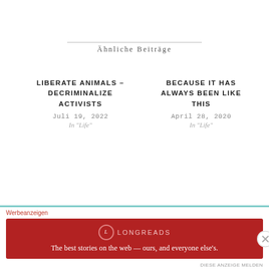Ähnliche Beiträge
LIBERATE ANIMALS – DECRIMINALIZE ACTIVISTS
Juli 19, 2022
In "Life"
BECAUSE IT HAS ALWAYS BEEN LIKE THIS
April 28, 2020
In "Life"
NO MEAT FROM ABROAD
Juli 13, 2021
In "Life"
Werbeanzeigen
[Figure (other): Longreads advertisement banner: red background with logo and tagline 'The best stories on the web — ours, and everyone else's.']